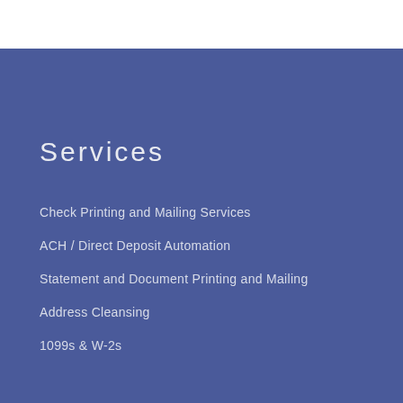Services
Check Printing and Mailing Services
ACH / Direct Deposit Automation
Statement and Document Printing and Mailing
Address Cleansing
1099s & W-2s